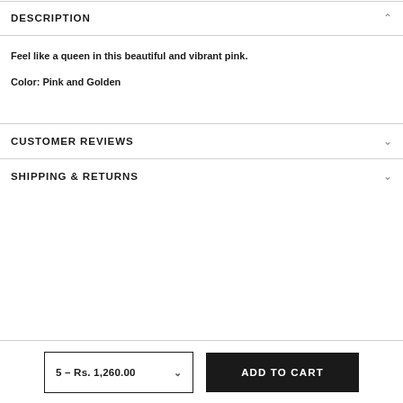DESCRIPTION
Feel like a queen in this beautiful and vibrant pink.
Color: Pink and Golden
CUSTOMER REVIEWS
SHIPPING & RETURNS
5 – Rs. 1,260.00
ADD TO CART